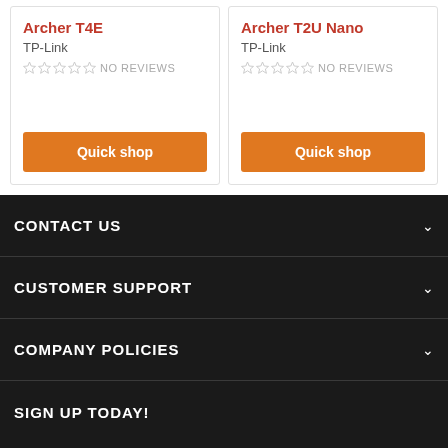Archer T4E
TP-Link
NO REVIEWS
Quick shop
Archer T2U Nano
TP-Link
NO REVIEWS
Quick shop
CONTACT US
CUSTOMER SUPPORT
COMPANY POLICIES
SIGN UP TODAY!